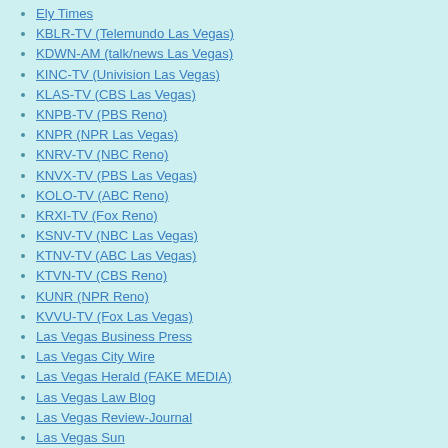Ely Times
KBLR-TV (Telemundo Las Vegas)
KDWN-AM (talk/news Las Vegas)
KINC-TV (Univision Las Vegas)
KLAS-TV (CBS Las Vegas)
KNPB-TV (PBS Reno)
KNPR (NPR Las Vegas)
KNRV-TV (NBC Reno)
KNVX-TV (PBS Las Vegas)
KOLO-TV (ABC Reno)
KRXI-TV (Fox Reno)
KSNV-TV (NBC Las Vegas)
KTNV-TV (ABC Las Vegas)
KTVN-TV (CBS Reno)
KUNR (NPR Reno)
KVVU-TV (Fox Las Vegas)
Las Vegas Business Press
Las Vegas City Wire
Las Vegas Herald (FAKE MEDIA)
Las Vegas Law Blog
Las Vegas Review-Journal
Las Vegas Sun
Las Vegas Tribune
Las Vegas Weekly
Laughlin Times
Lincoln County Record (Pioche)
Mesquite Local News
Mineral County Independent-News
Moapa Valley Progress